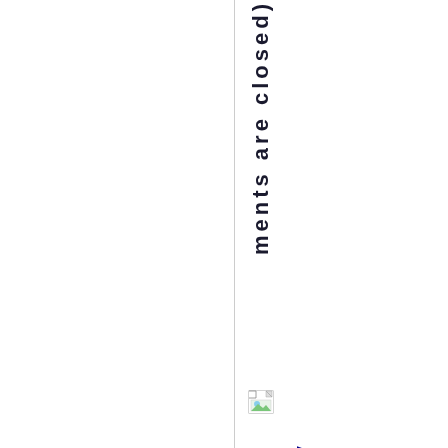ments are closed)
[Figure (illustration): Small broken image icon]
Why t